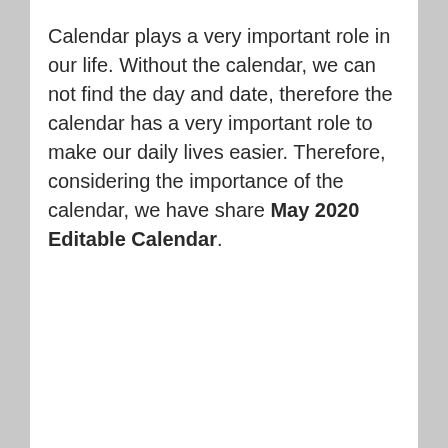Calendar plays a very important role in our life. Without the calendar, we can not find the day and date, therefore the calendar has a very important role to make our daily lives easier. Therefore, considering the importance of the calendar, we have share May 2020 Editable Calendar.